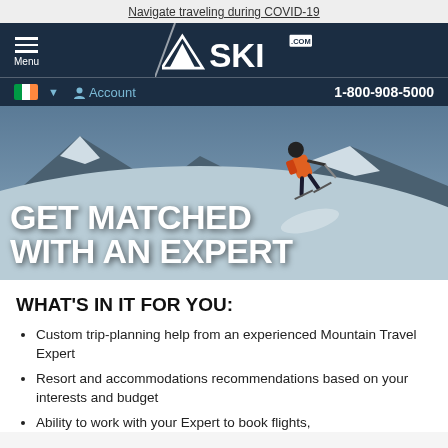Navigate traveling during COVID-19
[Figure (screenshot): SKI.com website header with hamburger menu, logo, flag selector, account link, and phone number 1-800-908-5000]
[Figure (photo): Hero image of skier in orange jacket on snowy mountain slope with overlay text GET MATCHED WITH AN EXPERT]
GET MATCHED WITH AN EXPERT
WHAT'S IN IT FOR YOU:
Custom trip-planning help from an experienced Mountain Travel Expert
Resort and accommodations recommendations based on your interests and budget
Ability to work with your Expert to book flights,